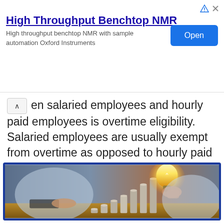[Figure (screenshot): Advertisement banner: High Throughput Benchtop NMR with Open button and ad icons]
en salaried employees and hourly paid employees is overtime eligibility. Salaried employees are usually exempt from overtime as opposed to hourly paid staff.
[Figure (photo): Photo of a person holding a glowing light bulb on top of stacked coins (growing piles), with another person using a calculator in the background — concept image about financial growth or salary.]